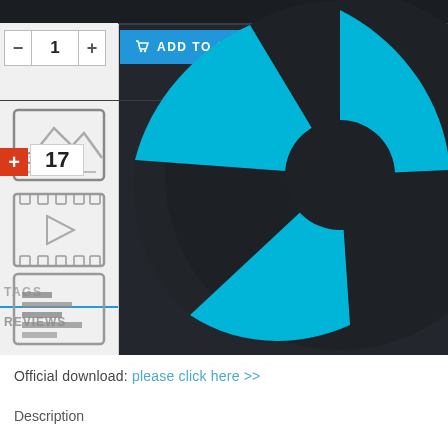[Figure (screenshot): Screenshot of a software product page showing a dark-themed UI with: quantity selector (minus, 1, plus), ADD TO CART button in blue, chart/analytics icon, image/video icons on left panel, plus badge with number 17, undo arrow button, TAGS and REVIEWS section labels, and a large cyan/blue aperture-style logo on the right side of the dark background.]
Official download: please click here >>
Description